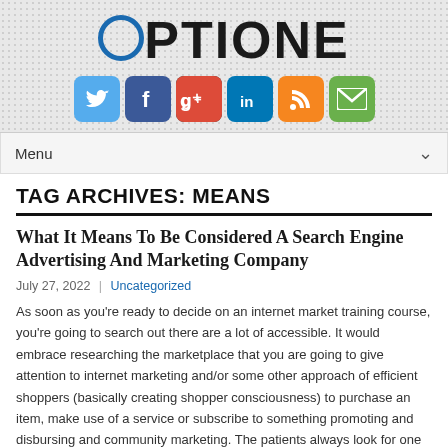OPTIONE
[Figure (infographic): Social media icon buttons: Twitter (blue), Facebook (dark blue), Google+ (red/multicolor), LinkedIn (blue), RSS (orange), Email/Mail (green)]
Menu
TAG ARCHIVES: MEANS
What It Means To Be Considered A Search Engine Advertising And Marketing Company
July 27, 2022 | Uncategorized
As soon as you're ready to decide on an internet market training course, you're going to search out there are a lot of accessible. It would embrace researching the marketplace that you are going to give attention to internet marketing and/or some other approach of efficient shoppers (basically creating shopper consciousness) to purchase an item, make use of a service or subscribe to something promoting and disbursing and community marketing. The patients always look for one of the best brand medicines because with good manufacturers